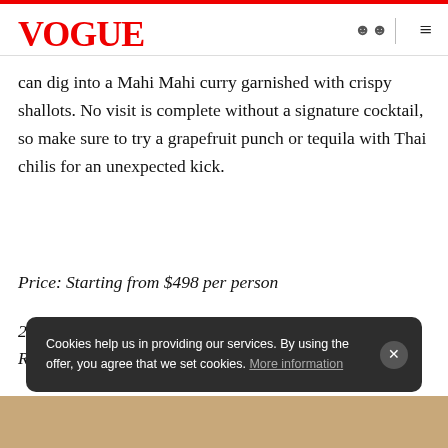VOGUE
can dig into a Mahi Mahi curry garnished with crispy shallots. No visit is complete without a signature cocktail, so make sure to try a grapefruit punch or tequila with Thai chilis for an unexpected kick.
Price: Starting from $498 per person
2/F Little Tai Hang, The Corner House, 98 Tung Lo Wan Road, Tai Hang; makahiki.com
Cookies help us in providing our services. By using the offer, you agree that we set cookies. More information